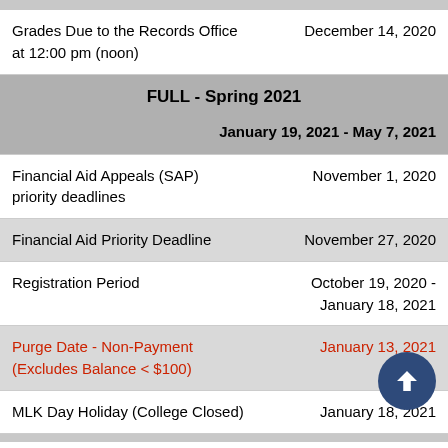Grades Due to the Records Office at 12:00 pm (noon)
FULL - Spring 2021
Financial Aid Appeals (SAP) priority deadlines
Financial Aid Priority Deadline
Registration Period
Purge Date - Non-Payment (Excludes Balance < $100)
MLK Day Holiday (College Closed)